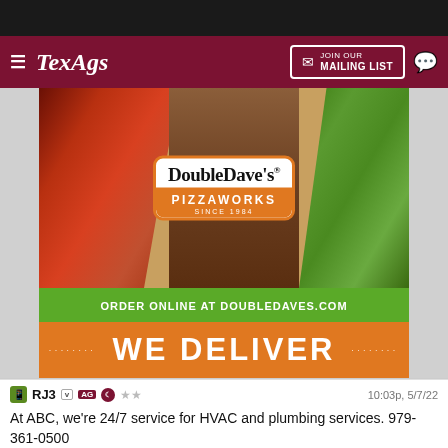[Figure (screenshot): TexAgs website header with dark top bar, maroon nav bar showing hamburger menu, TexAgs logo, Join Our Mailing List button, and chat icon]
[Figure (photo): DoubleDave's Pizzaworks advertisement showing pizza on left, salad on right, badge logo in center, green bar reading ORDER ONLINE AT DOUBLEDAVES.COM, and orange bar reading WE DELIVER]
RJ3    10:03p, 5/7/22
At ABC, we're 24/7 service for HVAC and plumbing services. 979-361-0500
1 edit
histag10    10:25p, 5/7/22